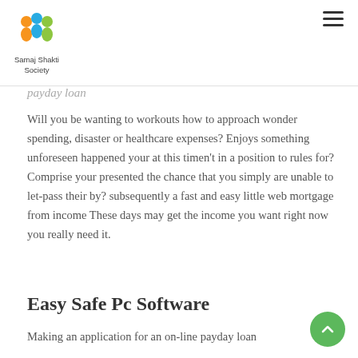Samaj Shakti Society
payday loan
Will you be wanting to workouts how to approach wonder spending, disaster or healthcare expenses? Enjoys something unforeseen happened your at this timen't in a position to rules for? Comprise your presented the chance that you simply are unable to let-pass their by? subsequently a fast and easy little web mortgage from income These days may get the income you want right now you really need it.
Easy Safe Pc Software
Making an application for an on-line payday loan